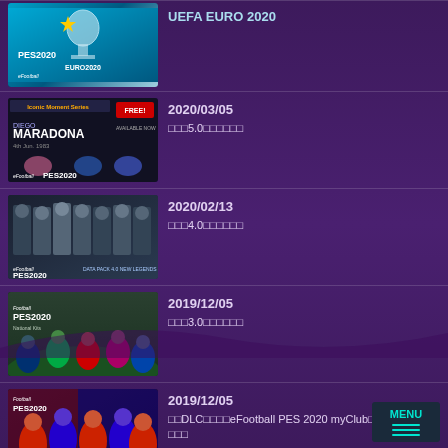[Figure (screenshot): eFootball PES 2020 UEFA EURO 2020 thumbnail]
UEFA EURO 2020 - (truncated at top)
[Figure (screenshot): Iconic Moment Series Maradona PES2020 thumbnail]
2020/03/05
□□□5.0□□□□□□
[Figure (screenshot): eFootball PES2020 Data Pack 4.0 New Legends thumbnail]
2020/02/13
□□□4.0□□□□□□
[Figure (screenshot): eFootball PES2020 National Kits thumbnail]
2019/12/05
□□□3.0□□□□□□
[Figure (screenshot): eFootball PES2020 myClub thumbnail]
2019/12/05
□□DLC□□□□eFootball PES 2020 myClub□□□□□□□□
□□□